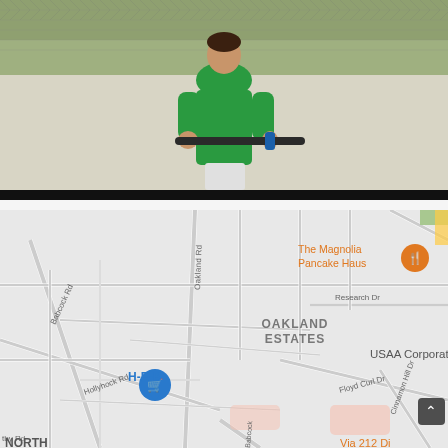[Figure (photo): Person wearing a green shirt holding what appears to be a baseball bat or similar object, standing in front of a chain-link fence with greenery in the background. A black bar appears at the bottom of the photo.]
[Figure (map): Google Maps screenshot showing an area in San Antonio, Texas including Oakland Estates neighborhood, USAA Corporate Office, The Magnolia Pancake Haus restaurant marker, H-E-B grocery store marker (blue pin), and roads including Oakland Rd, Babcock Rd, Hollyhock Rd, Research Dr, Floyd Curl Dr, Cinnamon Hill Dr. A scroll-up button appears in the bottom right. Partial text at bottom reads 'NORTH' and 'Via 212 Di'.]